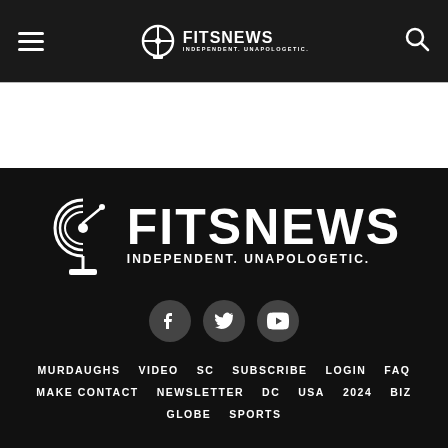FITSNEWS - INDEPENDENT. UNAPOLOGETIC. (navigation bar with hamburger menu and search icon)
[Figure (logo): FITSNews logo large white on black background with satellite dish icon, tagline INDEPENDENT. UNAPOLOGETIC.]
[Figure (infographic): Social media icons: Facebook, Twitter, YouTube - three dark circular buttons]
MURDAUGHS
VIDEO
SC
SUBSCRIBE
LOGIN
FAQ
MAKE CONTACT
NEWSLETTER
DC
USA
2024
BIZ
GLOBE
SPORTS